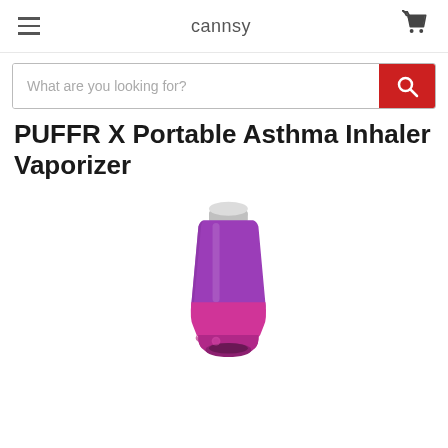cannsy
What are you looking for?
PUFFR X Portable Asthma Inhaler Vaporizer
[Figure (photo): Purple and pink portable asthma inhaler vaporizer product photo on white background]